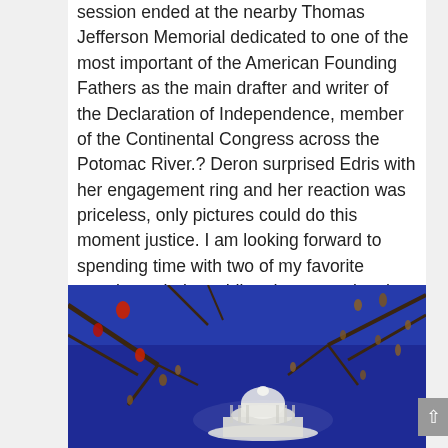session ended at the nearby Thomas Jefferson Memorial dedicated to one of the most important of the American Founding Fathers as the main drafter and writer of the Declaration of Independence, member of the Continental Congress across the Potomac River.? Deron surprised Edris with her engagement ring and her reaction was priceless, only pictures could do this moment justice. I am looking forward to spending time with two of my favorite people on their wedding day, capturing the love they share for each and the celebration with their family and friends. To see other events on the National Mall click here.
[Figure (photo): Nighttime or dusk photo showing tree branches with red berries/pods in the foreground against a deep blue sky, with a white domed building (Thomas Jefferson Memorial) visible below.]